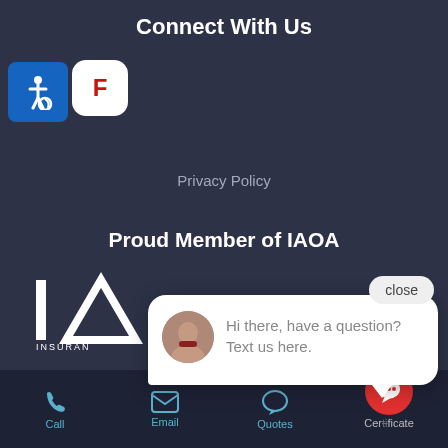Connect With Us
[Figure (logo): Accessibility wheelchair icon on blue background]
[Figure (logo): App store icon with red letter F on white rounded square]
Privacy Policy
Proud Member of IAOA
[Figure (logo): IAOA insurance logo with white letters on dark background]
[Figure (screenshot): Chat widget with avatar and message: Hi there, have a question? Text us here. Close button visible.]
close
Hi there, have a question? Text us here.
[Figure (infographic): Bottom navigation bar with Call, Email, Quotes, and Certificate icons in teal and a red chat button]
Call
Email
Quotes
Certificate